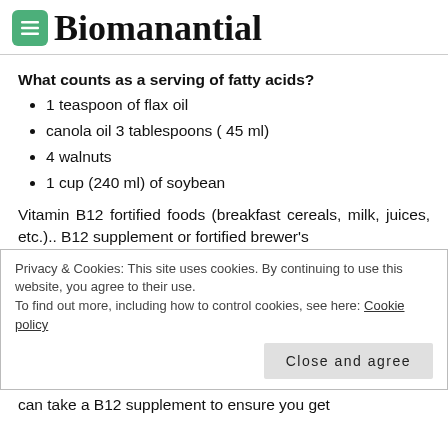Biomanantial
What counts as a serving of fatty acids?
1 teaspoon of flax oil
canola oil 3 tablespoons ( 45 ml)
4 walnuts
1 cup (240 ml) of soybean
Vitamin B12 fortified foods (breakfast cereals, milk, juices, etc.).. B12 supplement or fortified brewer's
Privacy & Cookies: This site uses cookies. By continuing to use this website, you agree to their use.
To find out more, including how to control cookies, see here: Cookie policy
Close and agree
can take a B12 supplement to ensure you get